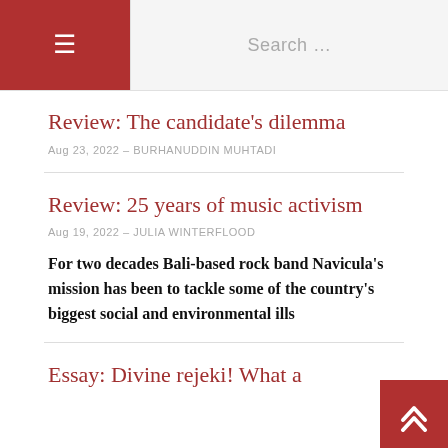≡  Search ...
Review: The candidate's dilemma
Aug 23, 2022 - BURHANUDDIN MUHTADI
Review: 25 years of music activism
Aug 19, 2022 - JULIA WINTERFLOOD
For two decades Bali-based rock band Navicula's mission has been to tackle some of the country's biggest social and environmental ills
Essay: Divine rejeki! What a ...